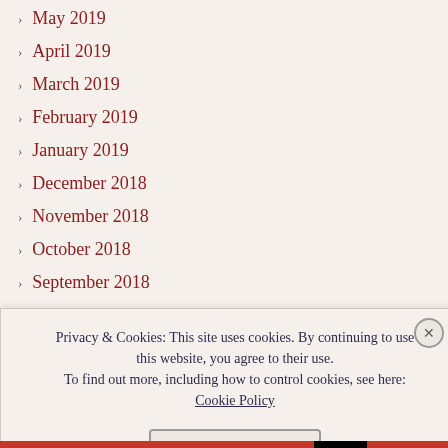May 2019
April 2019
March 2019
February 2019
January 2019
December 2018
November 2018
October 2018
September 2018
June 2018
May 2018
March 2018
Privacy & Cookies: This site uses cookies. By continuing to use this website, you agree to their use. To find out more, including how to control cookies, see here: Cookie Policy
Close and accept